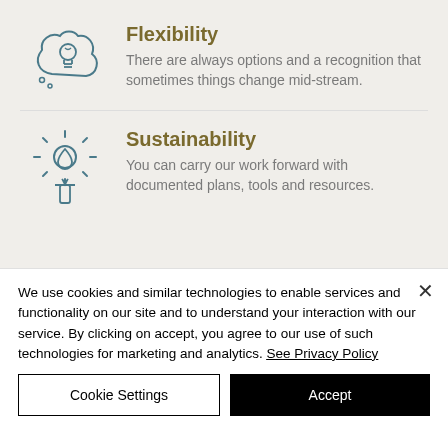Flexibility
There are always options and a recognition that sometimes things change mid-stream.
Sustainability
You can carry our work forward with documented plans, tools and resources.
We use cookies and similar technologies to enable services and functionality on our site and to understand your interaction with our service. By clicking on accept, you agree to our use of such technologies for marketing and analytics. See Privacy Policy